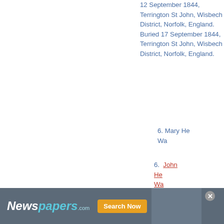12 September 1844, Terrington St John, Wisbech District, Norfolk, England. Buried 17 September 1844, Terrington St John, Wisbech District, Norfolk, England.
6. Mary He… Wa…
6. John He… Wa…
6. Mary An… He… Wi…
[Figure (other): Newspapers.com advertisement banner with logo and Search Now button]